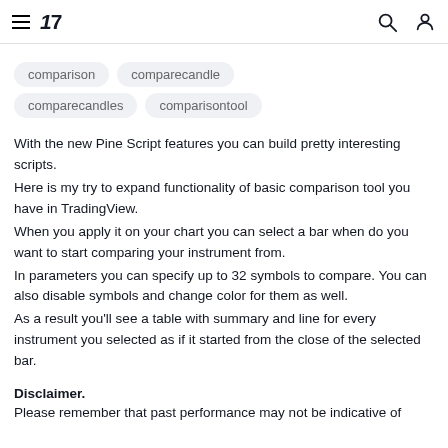TradingView
comparison
comparecandle
comparecandles
comparisontool
With the new Pine Script features you can build pretty interesting scripts.
Here is my try to expand functionality of basic comparison tool you have in TradingView.
When you apply it on your chart you can select a bar when do you want to start comparing your instrument from.
In parameters you can specify up to 32 symbols to compare. You can also disable symbols and change color for them as well.
As a result you'll see a table with summary and line for every instrument you selected as if it started from the close of the selected bar.
Disclaimer.
Please remember that past performance may not be indicative of